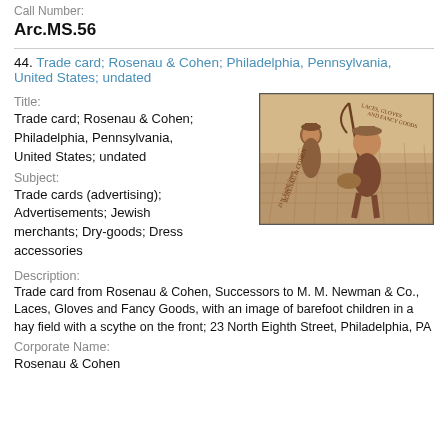Call Number:
Arc.MS.56
44. Trade card; Rosenau & Cohen; Philadelphia, Pennsylvania, United States; undated
Title:
Trade card; Rosenau & Cohen; Philadelphia, Pennsylvania, United States; undated
[Figure (photo): Vintage trade card showing barefoot children in a hay field with a scythe, with text 'Rosenau & Cohen, Laces, Gloves and Fancy Goods, 23 N. Eighth Street' on front]
Subject:
Trade cards (advertising); Advertisements; Jewish merchants; Dry-goods; Dress accessories
Description:
Trade card from Rosenau & Cohen, Successors to M. M. Newman & Co., Laces, Gloves and Fancy Goods, with an image of barefoot children in a hay field with a scythe on the front; 23 North Eighth Street, Philadelphia, PA
Corporate Name:
Rosenau & Cohen